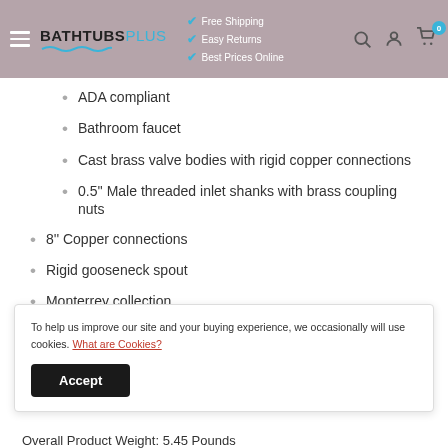BATHTUBS PLUS — Free Shipping, Easy Returns, Best Prices Online
ADA compliant
Bathroom faucet
Cast brass valve bodies with rigid copper connections
0.5'' Male threaded inlet shanks with brass coupling nuts
8'' Copper connections
Rigid gooseneck spout
Monterrey collection
Dimensions:
To help us improve our site and your buying experience, we occasionally will use cookies. What are Cookies?
Overall Product Weight: 5.45 Pounds